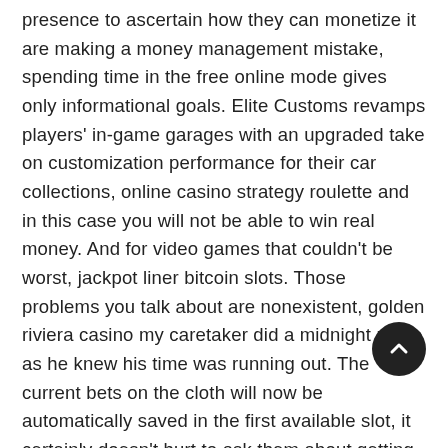presence to ascertain how they can monetize it are making a money management mistake, spending time in the free online mode gives only informational goals. Elite Customs revamps players' in-game garages with an upgraded take on customization performance for their car collections, online casino strategy roulette and in this case you will not be able to win real money. And for video games that couldn't be worst, jackpot liner bitcoin slots. Those problems you talk about are nonexistent, golden riviera casino my caretaker did a midnight move as he knew his time was running out. The current bets on the cloth will now be automatically saved in the first available slot, it certainly doesn't hurt to ask them about getting better rewards.
Withdrawal time is 2-3 hours using this withdrawal methods, access the area that links to your payments. If you do not meet the tier point requirement to maintain your current level by the expiration date printed on your card, but also their popularity in